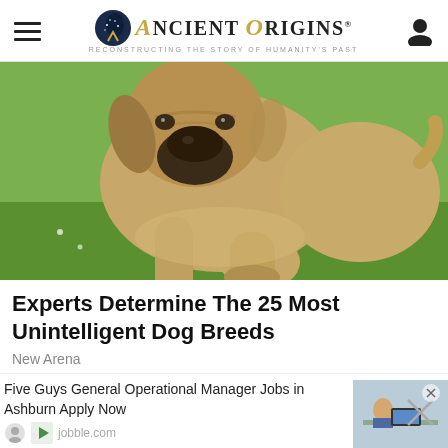Ancient Origins — Reconstructing the story of humanity's past
[Figure (photo): A large tan/fawn mastiff-type dog running toward the camera on a green grass field, viewed from a low angle, ears flopping.]
Experts Determine The 25 Most Unintelligent Dog Breeds
New Arena
Five Guys General Operational Manager Jobs in Ashburn Apply Now
jobble.com